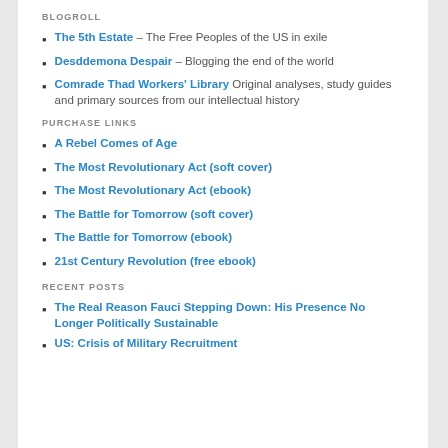BLOGROLL
The 5th Estate – The Free Peoples of the US in exile
Desddemona Despair – Blogging the end of the world
Comrade Thad Workers' Library Original analyses, study guides and primary sources from our intellectual history
PURCHASE LINKS
A Rebel Comes of Age
The Most Revolutionary Act (soft cover)
The Most Revolutionary Act (ebook)
The Battle for Tomorrow (soft cover)
The Battle for Tomorrow (ebook)
21st Century Revolution (free ebook)
RECENT POSTS
The Real Reason Fauci Stepping Down: His Presence No Longer Politically Sustainable
US: Crisis of Military Recruitment